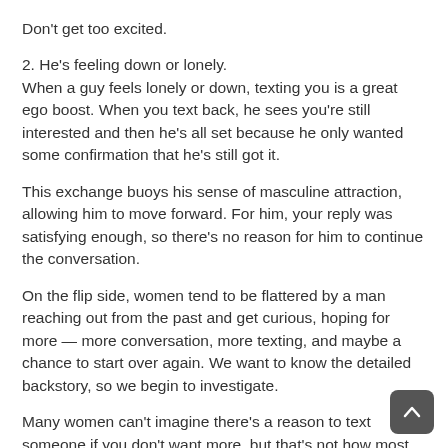Don't get too excited.
2. He's feeling down or lonely.
When a guy feels lonely or down, texting you is a great ego boost. When you text back, he sees you're still interested and then he's all set because he only wanted some confirmation that he's still got it.
This exchange buoys his sense of masculine attraction, allowing him to move forward. For him, your reply was satisfying enough, so there's no reason for him to continue the conversation.
On the flip side, women tend to be flattered by a man reaching out from the past and get curious, hoping for more — more conversation, more texting, and maybe a chance to start over again. We want to know the detailed backstory, so we begin to investigate.
Many women can't imagine there's a reason to text someone if you don't want more, but that's not how most men think.
3. He's showing off.